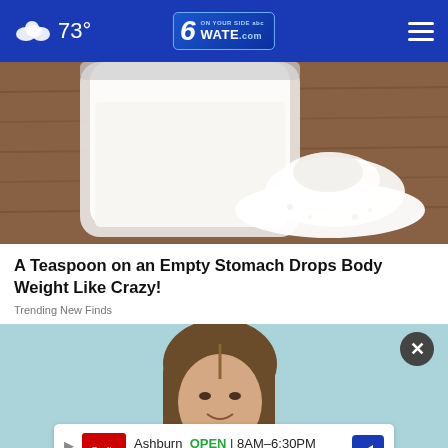73° WATE.com
[Figure (photo): Photo of a jar with white powder/substance and a pile of white powder on a wooden surface]
A Teaspoon on an Empty Stomach Drops Body Weight Like Crazy!
Trending New Finds
[Figure (photo): Photo of a young woman with brown hair smiling against a teal/mint background, with a circular close button and an advertisement banner overlay]
Ashburn OPEN 8AM–6:30PM 43324 Junction Plz, Ashburn